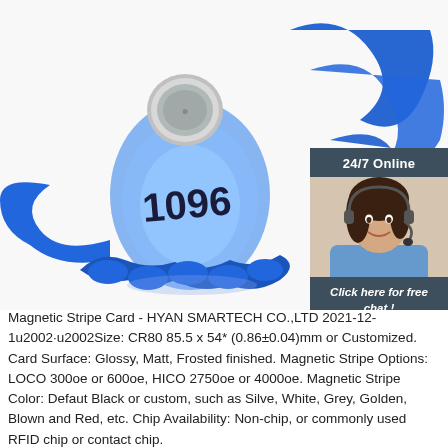[Figure (photo): Close-up photo of a blue RFID/NFC wristband with numbered tag showing 1096, with a coin cell battery visible on top. The wristband is blue silicone/plastic with a wavy coiled band. A 24/7 online customer service chat widget is overlaid in the top-right corner with a photo of a female customer service representative wearing a headset. Below the product image is a QUOTATION button in orange.]
Magnetic Stripe Card - HYAN SMARTECH CO.,LTD 2021-12-1u2002·u2002Size: CR80 85.5 x 54* (0.86±0.04)mm or Customized. Card Surface: Glossy, Matt, Frosted finished. Magnetic Stripe Options: LOCO 300oe or 600oe, HICO 2750oe or 4000oe. Magnetic Stripe Color: Defaut Black or custom, such as Silver, White, Grey, Golden, Blown and Red, etc. Chip Availability: Non-chip, or commonly used RFID chip or contact chip.